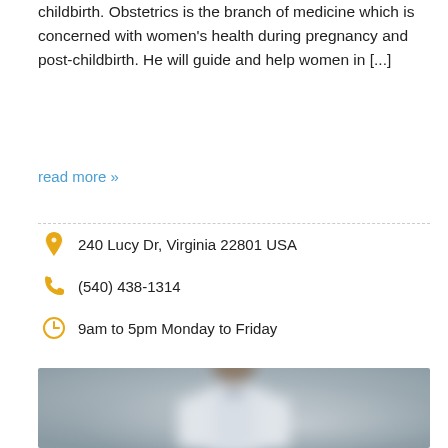childbirth. Obstetrics is the branch of medicine which is concerned with women's health during pregnancy and post-childbirth. He will guide and help women in [...]
read more »
240 Lucy Dr, Virginia 22801 USA
(540) 438-1314
9am to 5pm Monday to Friday
[Figure (photo): Blurred photo of a male doctor or medical professional in a white coat, standing against a grey background, upper body visible]